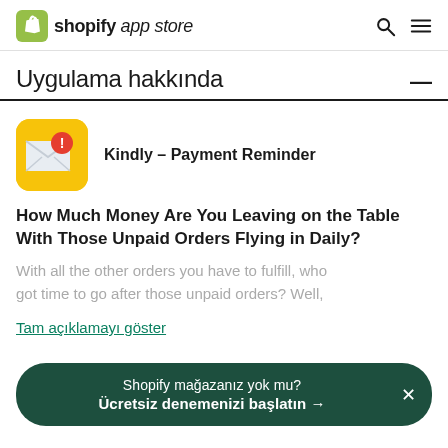shopify app store
Uygulama hakkında
[Figure (logo): Kindly Payment Reminder app icon - yellow rounded square with envelope and red notification badge]
Kindly – Payment Reminder
How Much Money Are You Leaving on the Table With Those Unpaid Orders Flying in Daily?
With all the other orders you have to fulfill, who got time to go after those unpaid orders? Well,
Tam açıklamayı göster
Shopify mağazanız yok mu? Ücretsiz denemenizi başlatın →